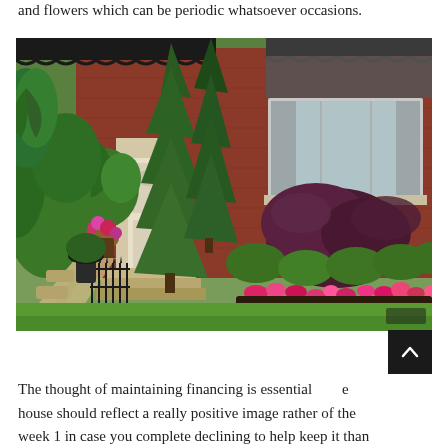and flowers which can be periodic whatsoever occasions.
[Figure (photo): A beautifully landscaped front yard of a brick house with tall evergreen trees, lush green shrubs, colorful flowering plants in pink and red, a stone pathway, and a window with a grey awning.]
The thought of maintaining financing is essential and the house should reflect a really positive image rather of the week 1 in case you complete declining to help keep it than